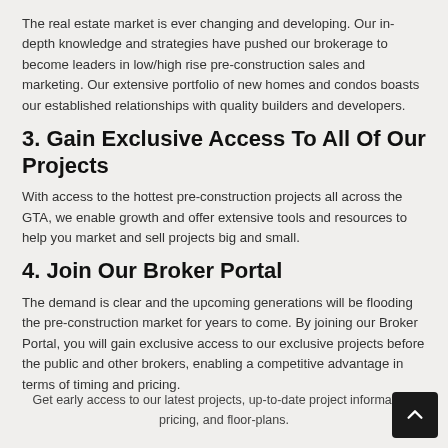The real estate market is ever changing and developing. Our in-depth knowledge and strategies have pushed our brokerage to become leaders in low/high rise pre-construction sales and marketing. Our extensive portfolio of new homes and condos boasts our established relationships with quality builders and developers.
3. Gain Exclusive Access To All Of Our Projects
With access to the hottest pre-construction projects all across the GTA, we enable growth and offer extensive tools and resources to help you market and sell projects big and small.
4. Join Our Broker Portal
The demand is clear and the upcoming generations will be flooding the pre-construction market for years to come. By joining our Broker Portal, you will gain exclusive access to our exclusive projects before the public and other brokers, enabling a competitive advantage in terms of timing and pricing.
Get early access to our latest projects, up-to-date project information, pricing, and floor-plans.